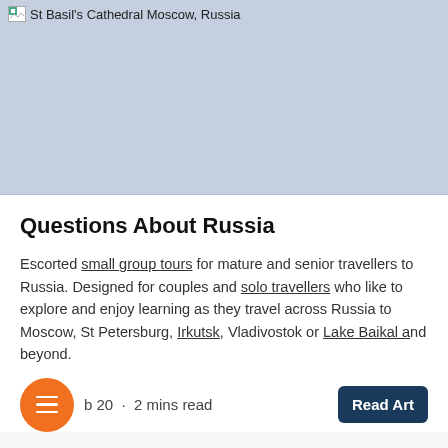[Figure (photo): St Basil's Cathedral Moscow, Russia — placeholder image with light blue-grey background]
Questions About Russia
Escorted small group tours for mature and senior travellers to Russia. Designed for couples and solo travellers who like to explore and enjoy learning as they travel across Russia to Moscow, St Petersburg, Irkutsk, Vladivostok or Lake Baikal and beyond.
Feb 20 · 2 mins read